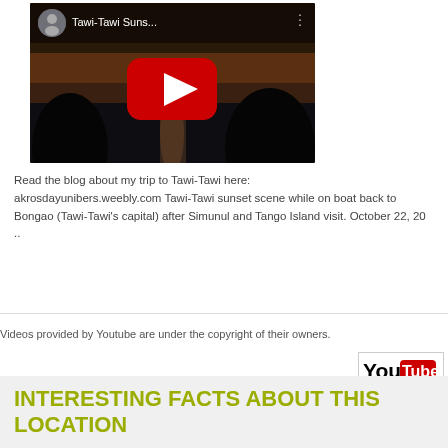[Figure (screenshot): YouTube video thumbnail for 'Tawi-Tawi Suns...' showing a sunset scene on water with silhouetted figures, featuring a red YouTube play button in the center and a circular avatar photo in the top-left corner.]
Read the blog about my trip to Tawi-Tawi here: akrosdayunibers.weebly.com Tawi-Tawi sunset scene while on boat back to Bongao (Tawi-Tawi's capital) after Simunul and Tango Island visit. October 22, 20 ..
Videos provided by Youtube are under the copyright of their owners.
[Figure (logo): YouTube logo in black and red on white background with border.]
INTERESTING FACTS ABOUT THIS LOCATION